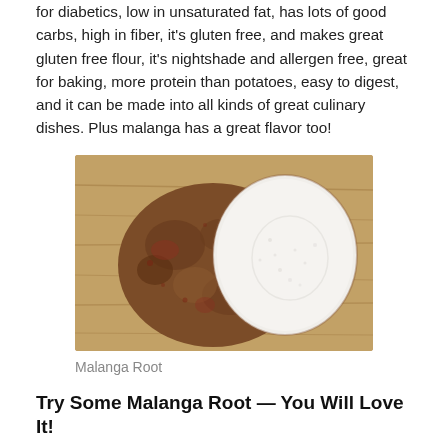for diabetics, low in unsaturated fat, has lots of good carbs, high in fiber, it's gluten free, and makes great gluten free flour, it's nightshade and allergen free, great for baking, more protein than potatoes, easy to digest, and it can be made into all kinds of great culinary dishes. Plus malanga has a great flavor too!
[Figure (photo): A malanga root cut in half revealing white starchy flesh, placed on a wooden cutting board. The exterior is rough and brown with reddish-brown patches.]
Malanga Root
Try Some Malanga Root — You Will Love It!